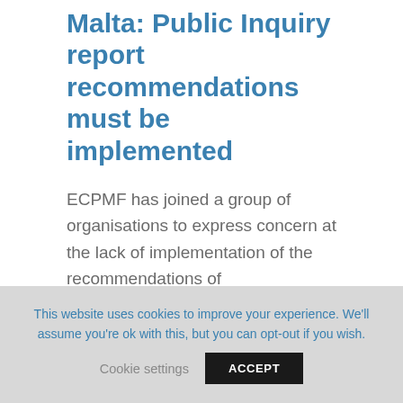Malta: Public Inquiry report recommendations must be implemented
ECPMF has joined a group of organisations to express concern at the lack of implementation of the recommendations of
This website uses cookies to improve your experience. We'll assume you're ok with this, but you can opt-out if you wish. Cookie settings ACCEPT